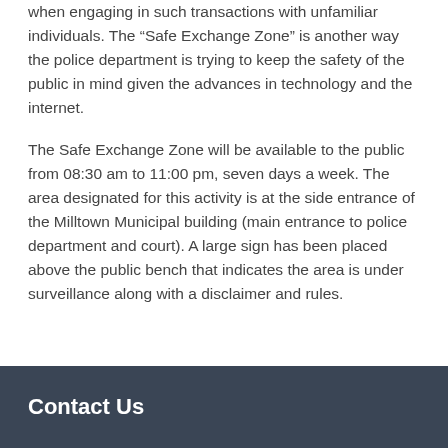when engaging in such transactions with unfamiliar individuals. The “Safe Exchange Zone” is another way the police department is trying to keep the safety of the public in mind given the advances in technology and the internet.
The Safe Exchange Zone will be available to the public from 08:30 am to 11:00 pm, seven days a week. The area designated for this activity is at the side entrance of the Milltown Municipal building (main entrance to police department and court). A large sign has been placed above the public bench that indicates the area is under surveillance along with a disclaimer and rules.
Contact Us